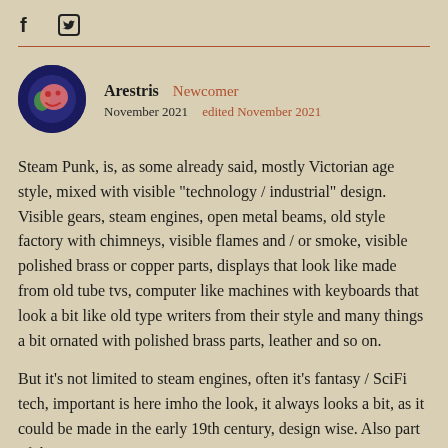[Figure (logo): Facebook and Twitter social media icons in the page header]
[Figure (illustration): User avatar: circular icon with dark blue border and pink/green face design on dark background]
Arestris  Newcomer
November 2021   edited November 2021
Steam Punk, is, as some already said, mostly Victorian age style, mixed with visible "technology / industrial" design. Visible gears, steam engines, open metal beams, old style factory with chimneys, visible flames and / or smoke, visible polished brass or copper parts, displays that look like made from old tube tvs, computer like machines with keyboards that look a bit like old type writers from their style and many things a bit ornated with polished brass parts, leather and so on.
But it's not limited to steam engines, often it's fantasy / SciFi tech, important is here imho the look, it always looks a bit, as it could be made in the early 19th century, design wise. Also part of the